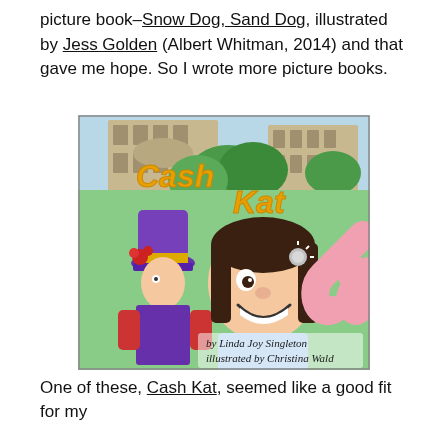picture book–Snow Dog, Sand Dog, illustrated by Jess Golden (Albert Whitman, 2014) and that gave me hope. So I wrote more picture books.
[Figure (illustration): Book cover of 'Cash Kat' by Linda Joy Singleton, illustrated by Christina Wald. Shows a smiling girl with a pink elephant trunk near her ear, and a figure in a purple top hat behind her. Buildings and green trees in background. Title text in yellow-orange letters.]
One of these, Cash Kat, seemed like a good fit for my